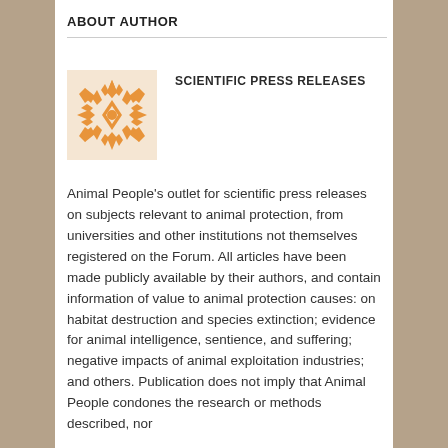ABOUT AUTHOR
[Figure (illustration): Decorative geometric/floral orange pattern icon used as author avatar]
SCIENTIFIC PRESS RELEASES
Animal People's outlet for scientific press releases on subjects relevant to animal protection, from universities and other institutions not themselves registered on the Forum. All articles have been made publicly available by their authors, and contain information of value to animal protection causes: on habitat destruction and species extinction; evidence for animal intelligence, sentience, and suffering; negative impacts of animal exploitation industries; and others. Publication does not imply that Animal People condones the research or methods described, nor